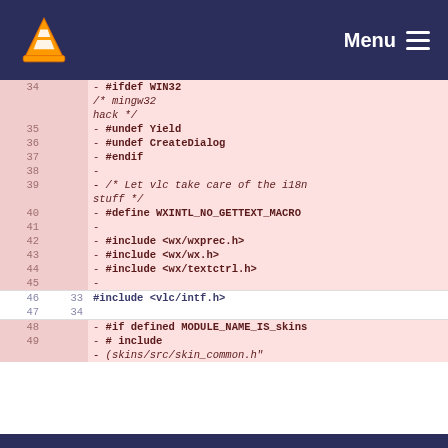VLC Menu
[Figure (screenshot): VLC media player logo (orange traffic cone) in dark blue navigation bar with Menu and hamburger icon]
| old_line | new_line | code |
| --- | --- | --- |
| 34 |  | - #ifdef WIN32 |
|  |  |                               /* mingw32 hack */ |
| 35 |  | - #undef Yield |
| 36 |  | - #undef CreateDialog |
| 37 |  | - #endif |
| 38 |  | - |
| 39 |  | - /* Let vlc take care of the i18n stuff */ |
| 40 |  | - #define WXINTL_NO_GETTEXT_MACRO |
| 41 |  | - |
| 42 |  | - #include <wx/wxprec.h> |
| 43 |  | - #include <wx/wx.h> |
| 44 |  | - #include <wx/textctrl.h> |
| 45 |  | - |
| 46 | 33 |   #include <vlc/intf.h> |
| 47 | 34 |  |
| 48 |  | - #if defined MODULE_NAME_IS_skins |
| 49 |  | - #    include |
|  |  | - (skins/src/skin_common.h" |